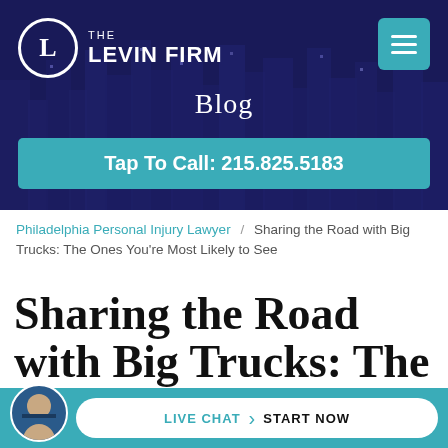[Figure (screenshot): The Levin Firm logo with circular L emblem and firm name, on dark blue cityscape background]
Blog
Tap To Call: 215.825.5183
Philadelphia Personal Injury Lawyer / Sharing the Road with Big Trucks: The Ones You're Most Likely to See
Sharing the Road with Big Trucks: The
LIVE CHAT › START NOW